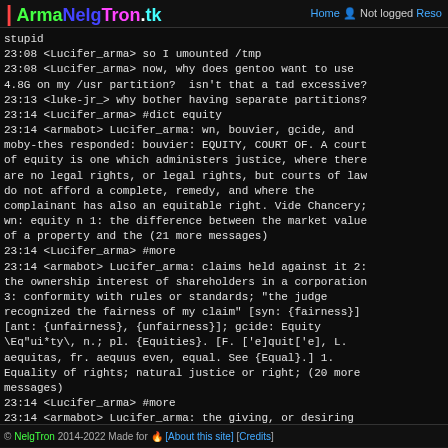ArmaNelgTron.tk | Home | Not logged | Resources
stupid
23:08 <Lucifer_arma> so I umounted /tmp
23:08 <Lucifer_arma> now, why does gentoo want to use 4.8G on my /usr partition?  isn't that a tad excessive?
23:13 <luke-jr_> why bother having separate partitions?
23:14 <Lucifer_arma> #dict equity
23:14 <armabot> Lucifer_arma: wn, bouvier, gcide, and moby-thes responded: bouvier: EQUITY, COURT OF. A court of equity is one which administers justice, where there are no legal rights, or legal rights, but courts of law do not afford a complete, remedy, and where the complainant has also an equitable right. Vide Chancery; wn: equity n 1: the difference between the market value of a property and the (21 more messages)
23:14 <Lucifer_arma> #more
23:14 <armabot> Lucifer_arma: claims held against it 2: the ownership interest of shareholders in a corporation 3: conformity with rules or standards; "the judge recognized the fairness of my claim" [syn: {fairness}] [ant: {unfairness}, {unfairness}]; gcide: Equity \Eq"ui*ty\, n.; pl. {Equities}. [F. ['e]quit['e], L. aequitas, fr. aequus even, equal. See {Equal}.] 1. Equality of rights; natural justice or right; (20 more messages)
23:14 <Lucifer_arma> #more
23:14 <armabot> Lucifer_arma: the giving, or desiring to give, to each man his due, according to reason, and
© NelgTron 2014-2022 Made for [About this site] [Credits]